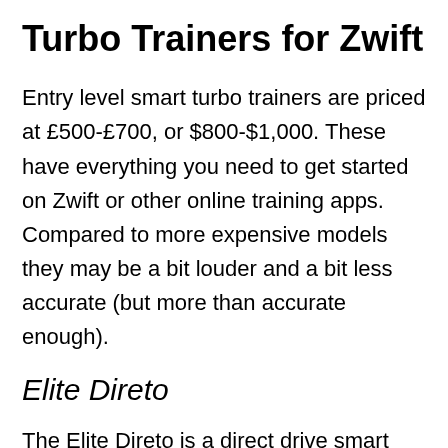Turbo Trainers for Zwift
Entry level smart turbo trainers are priced at £500-£700, or $800-$1,000. These have everything you need to get started on Zwift or other online training apps. Compared to more expensive models they may be a bit louder and a bit less accurate (but more than accurate enough).
Elite Direto
The Elite Direto is a direct drive smart turbo trainer. The Elite Direto does everything you